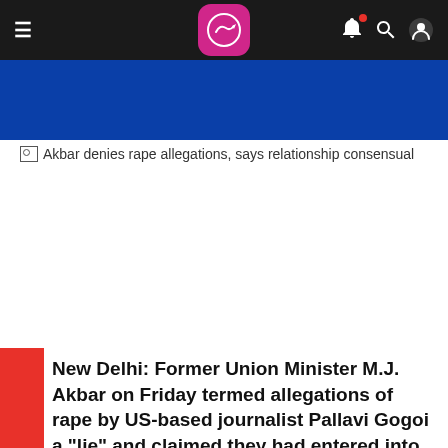Navigation bar with hamburger menu, logo, bell, search, and user icons
[Figure (screenshot): Broken image placeholder with alt text: Akbar denies rape allegations, says relationship consensual]
New Delhi: Former Union Minister M.J. Akbar on Friday termed allegations of rape by US-based journalist Pallavi Gogoi a "lie" and claimed they had entered into a "consensual relationship".